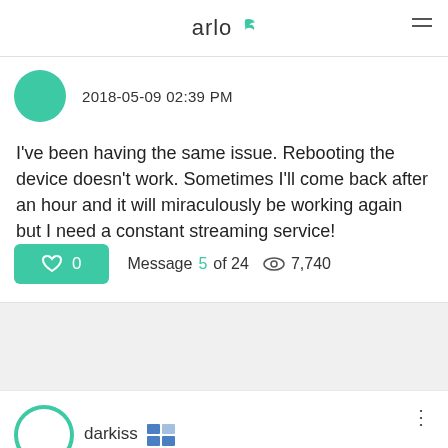arlo
2018-05-09 02:39 PM
I've been having the same issue. Rebooting the device doesn't work. Sometimes I'll come back after an hour and it will miraculously be working again but I need a constant streaming service!
♡ 0   Message 5 of 24   👁 7,740
darkiss